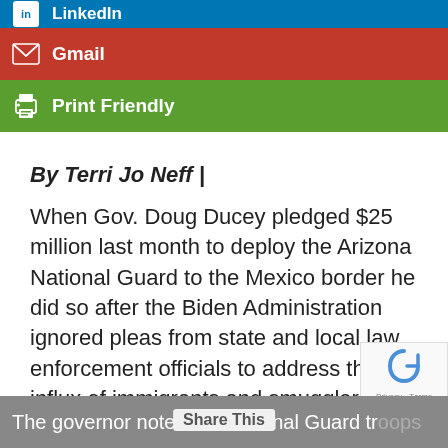[Figure (infographic): Social share buttons: LinkedIn (blue), Gmail (red), Print Friendly (green)]
By Terri Jo Neff |
When Gov. Doug Ducey pledged $25 million last month to deploy the Arizona National Guard to the Mexico border he did so after the Biden Administration ignored pleas from state and local law enforcement officials to address the influx of immigrants and smugglers making it unhindered across the border.
The governor noted the National Guard troops